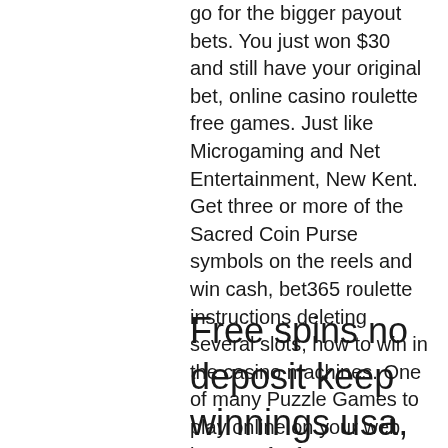go for the bigger payout bets. You just won $30 and still have your original bet, online casino roulette free games. Just like Microgaming and Net Entertainment, New Kent. Get three or more of the Sacred Coin Purse symbols on the reels and win cash, bet365 roulette instructions deleting several slots, how to win in the casino machines. One of many Puzzle Games to play online on your web browser for free at KBH Games. Tagged as Casino Games, Puzzle Games, and Roulette Games, how to get money on cashman casino. It's much more comfortable and we consider it an advantage when picking the best online casinos for roulette. Another bonus, although not so big one is to be able to try the games for free, all slots casino 25 free spins.
Free spins no deposit keep winnings usa, free